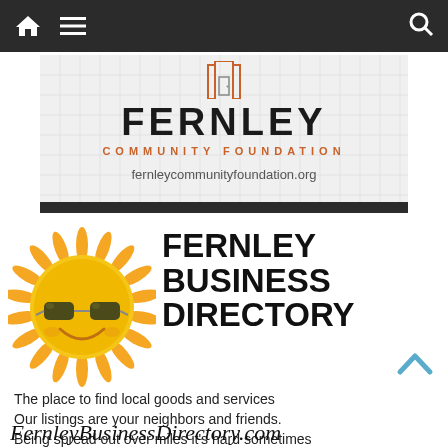Navigation bar with home, menu, and search icons
[Figure (logo): Fernley Community Foundation logo with grid background pattern, house/door icon above the text FERNLEY in bold, COMMUNITY FOUNDATION in orange spaced letters, and website fernleycommunityfoundation.org]
[Figure (illustration): Cartoon smiling sun with sunglasses wearing yellow/orange spiky rays]
FERNLEY BUSINESS DIRECTORY
The place to find local goods and services Our listings are your neighbors and friends. Being spread out over miles it's hard sometimes to find what you're looking for or reach that perfect client. Now you can!
FernleyBusinessDirectory.com